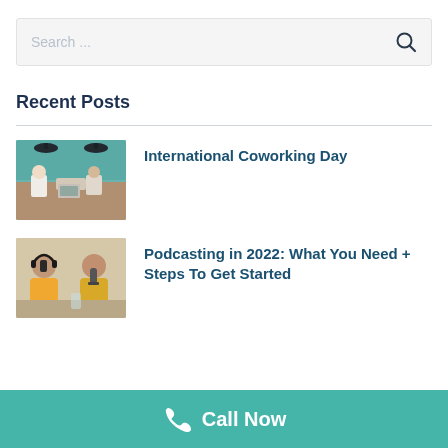Search ...
Recent Posts
[Figure (photo): People working in a coworking space, sitting at desks with laptops]
International Coworking Day
[Figure (photo): Two people podcasting with headphones and microphones]
Podcasting in 2022: What You Need + Steps To Get Started
Call Now